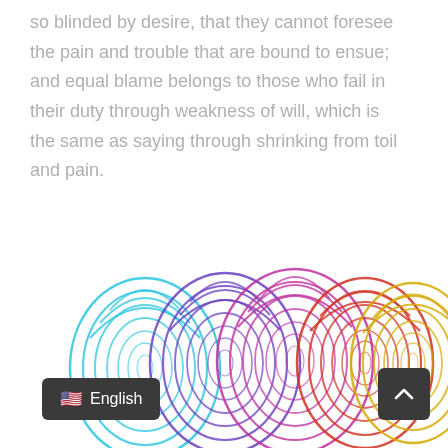so blinded by desire, that they cannot foresee the pain and trouble that are bound to ensue; and equal blame belongs to those who fail in their duty through weakness of will, which is the same as saying through shrinking from toil and pain.
[Figure (illustration): Colorful fingerprint stamps in blue, purple, magenta, red, and yellow/orange arranged side by side, partially visible at the bottom of the page. Language selector button showing US flag and 'English' text, and a scroll-to-top arrow button overlaid on the image.]